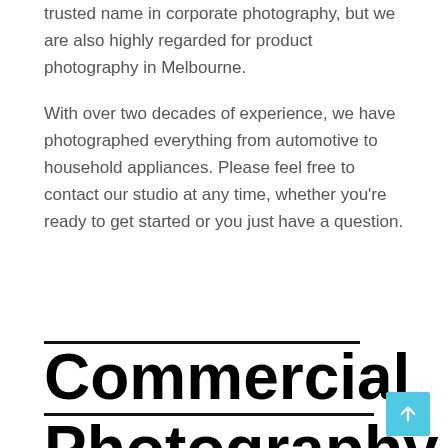trusted name in corporate photography, but we are also highly regarded for product photography in Melbourne.

With over two decades of experience, we have photographed everything from automotive to household appliances. Please feel free to contact our studio at any time, whether you're ready to get started or you just have a question.
Commercial Photography